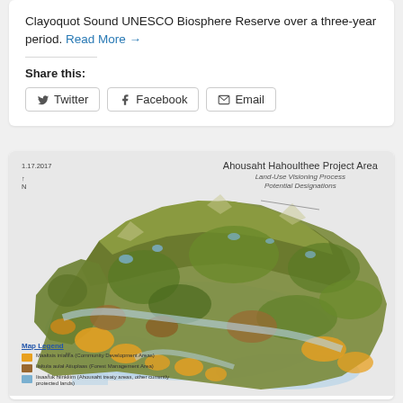Clayoquot Sound UNESCO Biosphere Reserve over a three-year period. Read More →
Share this:
Twitter  Facebook  Email
[Figure (map): Ahousaht Hahoulthee Project Area land-use visioning process potential designations map dated 1.17.2017, showing topographic terrain with green forested areas, orange/yellow community development areas, brown forest management areas, and blue water bodies. Map legend at bottom left.]